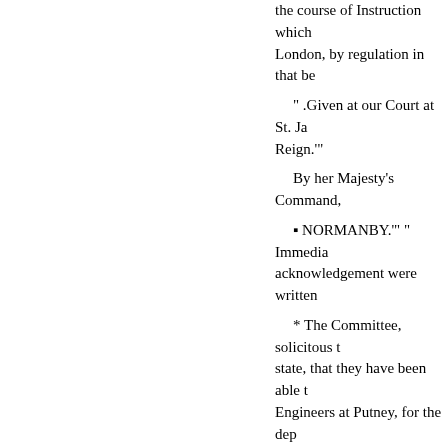the course of Instruction which London, by regulation in that be
" .Given at our Court at St. Ja Reign.'"
By her Majesty's Command,
• NORMANBY.'" " Immedia acknowledgement were written
* The Committee, solicitous t state, that they have been able t Engineers at Putney, for the dep pleasure in announcing the com literature, adapted to the presen which they have taken will have education for the work of the Ch to the entrance of students upon the defence and propagation of least abatement of theological, l
studies."
STATEMENT RESPECTING T
academies, and especially of the